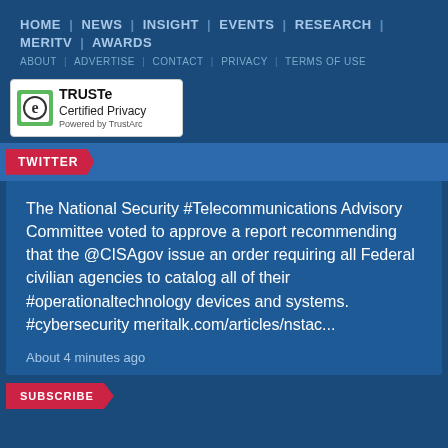HOME | NEWS | INSIGHT | EVENTS | RESEARCH | MERITV | AWARDS
ABOUT | ADVERTISE | CONTACT | PRIVACY | TERMS OF USE
[Figure (logo): TRUSTe Certified Privacy Powered by TrustArc badge]
TWITTER
The National Security #Telecommunications Advisory Committee voted to approve a report recommending that the @CISAgov issue an order requiring all Federal civilian agencies to catalog all of their #operationaltechnology devices and systems. #cybersecurity meritalk.com/articles/nstac...
About 4 minutes ago
SUBSCRIBE